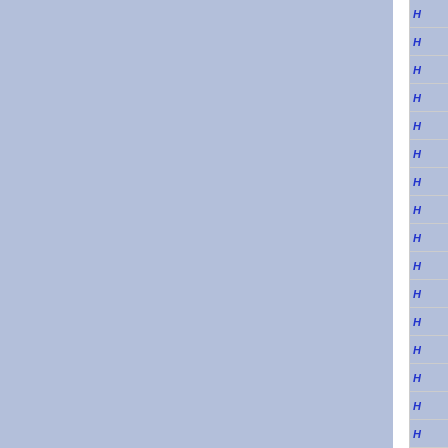[Figure (other): Partial view of a document or spreadsheet page showing two large light blue panel areas separated by a white vertical gap on the left portion, and on the right edge a column of rows with blue italic text labels partially cropped, separated by horizontal lines on a light blue background.]